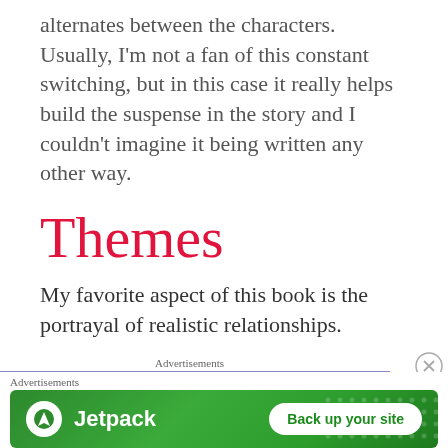alternates between the characters. Usually, I'm not a fan of this constant switching, but in this case it really helps build the suspense in the story and I couldn't imagine it being written any other way.
Themes
My favorite aspect of this book is the portrayal of realistic relationships.
[Figure (screenshot): Advertisement banner for Jetpack with green background showing the Jetpack logo and 'Back up your site' button, with 'Advertisements' label above and a close (X) button.]